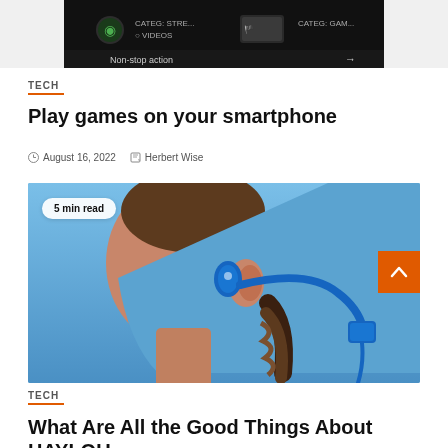[Figure (screenshot): Dark-themed mobile gaming app screenshot showing 'Non-stop action' with arrow]
TECH
Play games on your smartphone
August 16, 2022   Herbert Wise
[Figure (photo): Close-up side profile of a person wearing blue bone conduction headphones against a blue background, with a '5 min read' badge overlay]
TECH
What Are All the Good Things About HAYLOU